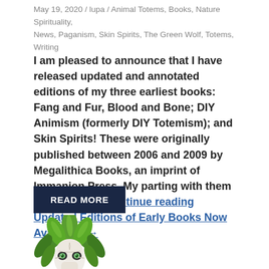May 19, 2020 / lupa / Animal Totems, Books, Nature Spirituality, News, Paganism, Skin Spirits, The Green Wolf, Totems, Writing
I am pleased to announce that I have released updated and annotated editions of my three earliest books: Fang and Fur, Blood and Bone; DIY Animism (formerly DIY Totemism); and Skin Spirits! These were originally published between 2006 and 2009 by Megalithica Books, an imprint of Immanion Press. My parting with them is on good … Continue reading Updated Editions of Early Books Now Available! →
READ MORE
[Figure (logo): Green Wolf logo — a stylized wolf skull surrounded by green leaves, forming a circular emblem]